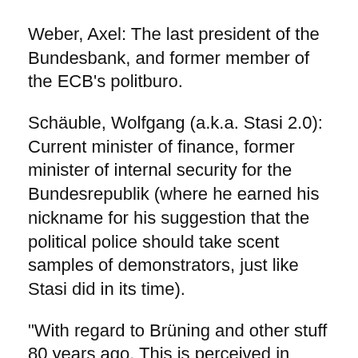Weber, Axel: The last president of the Bundesbank, and former member of the ECB's politburo.
Schäuble, Wolfgang (a.k.a. Stasi 2.0): Current minister of finance, former minister of internal security for the Bundesrepublik (where he earned his nickname for his suggestion that the political police should take scent samples of demonstrators, just like Stasi did in its time).
"With regard to Brüning and other stuff 80 years ago. This is perceived in Germany as